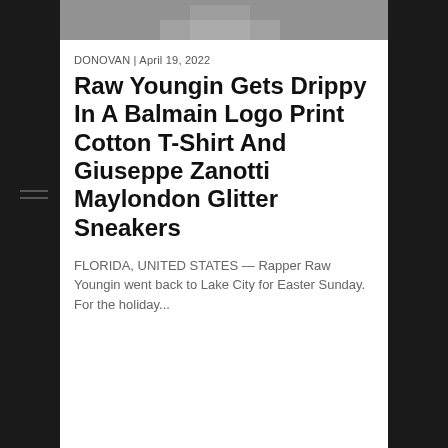[Figure (photo): Top portion of a photo showing a person, cropped at top of page]
DONOVAN | April 19, 2022
Raw Youngin Gets Drippy In A Balmain Logo Print Cotton T-Shirt And Giuseppe Zanotti Maylondon Glitter Sneakers
FLORIDA, UNITED STATES — Rapper Raw Youngin went back to Lake City for Easter Sunday. For the holiday...